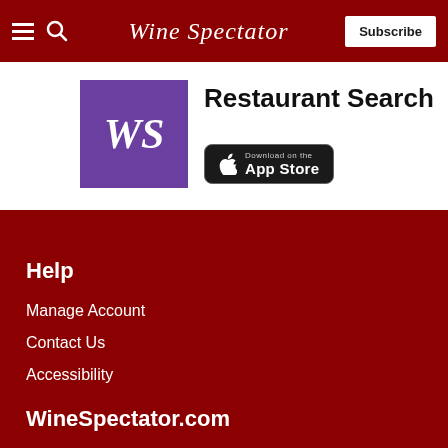Wine Spectator
[Figure (screenshot): WS app logo in purple box with 'WS' text]
Restaurant Search
[Figure (logo): Download on the App Store badge]
Help
Manage Account
Contact Us
Accessibility
WineSpectator.com